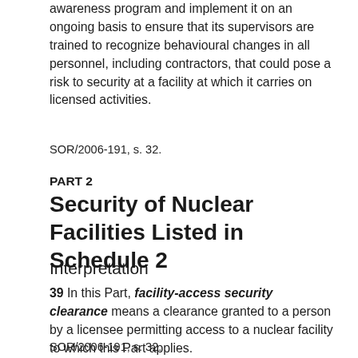awareness program and implement it on an ongoing basis to ensure that its supervisors are trained to recognize behavioural changes in all personnel, including contractors, that could pose a risk to security at a facility at which it carries on licensed activities.
SOR/2006-191, s. 32.
PART 2
Security of Nuclear Facilities Listed in Schedule 2
Interpretation
39 In this Part, facility-access security clearance means a clearance granted to a person by a licensee permitting access to a nuclear facility to which this Part applies.
SOR/2006-191, s. 32.